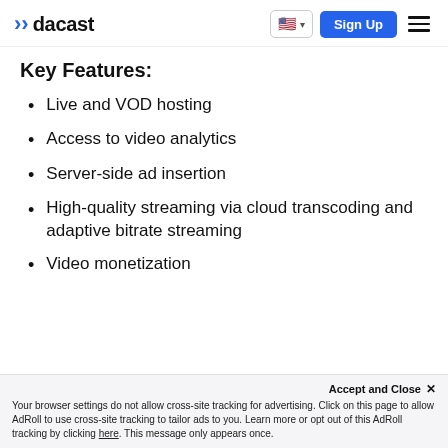dacast | Sign Up
Key Features:
Live and VOD hosting
Access to video analytics
Server-side ad insertion
High-quality streaming via cloud transcoding and adaptive bitrate streaming
Video monetization
Accept and Close ✕ Your browser settings do not allow cross-site tracking for advertising. Click on this page to allow AdRoll to use cross-site tracking to tailor ads to you. Learn more or opt out of this AdRoll tracking by clicking here. This message only appears once.